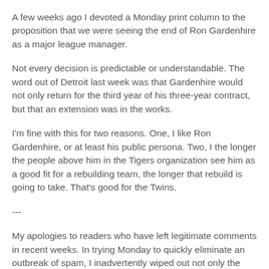A few weeks ago I devoted a Monday print column to the proposition that we were seeing the end of Ron Gardenhire as a major league manager.
Not every decision is predictable or understandable. The word out of Detroit last week was that Gardenhire would not only return for the third year of his three-year contract, but that an extension was in the works.
I'm fine with this for two reasons. One, I like Ron Gardenhire, or at least his public persona. Two, I the longer the people above him in the Tigers organization see him as a good fit for a rebuilding team, the longer that rebuild is going to take. That's good for the Twins.
---
My apologies to readers who have left legitimate comments in recent weeks. In trying Monday to quickly eliminate an outbreak of spam, I inadvertently wiped out not only the spam but dozens of legit comments as well. I regret that.